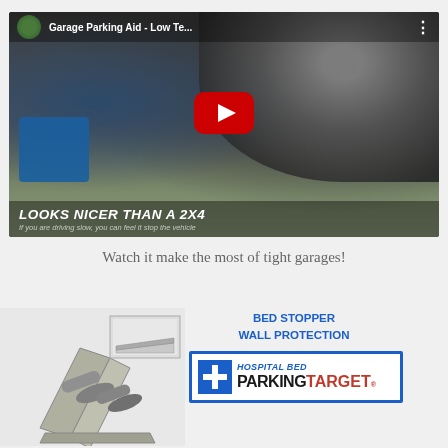[Figure (screenshot): YouTube video thumbnail for 'Garage Parking Aid - Low Te...' showing a car tire over a floor with overlaid play button, channel icon, and subtitle text 'LOOKS NICER THAN A 2X4' and 'If you are driving slow, you can feel it stop the vehicle']
Watch it make the most of tight garages!
[Figure (photo): Product image showing a garage parking aid device (angled pieces) and a smaller image of the Bed Stopper wall protection device]
BED STOPPER
WALL PROTECTION
[Figure (logo): Hospital Bed ParkingTarget logo with blue cross icon, 'HOSPITAL BED' in blue italic text and 'PARKINGTARGET' in black and red bold text]